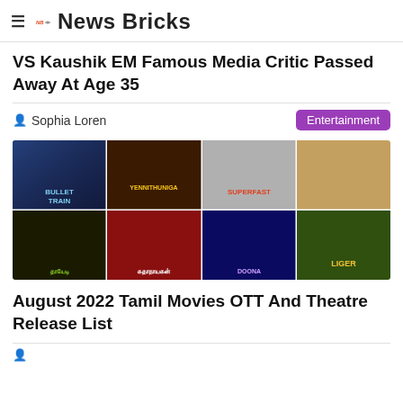NB News Bricks
VS Kaushik EM Famous Media Critic Passed Away At Age 35
Sophia Loren   Entertainment
[Figure (photo): Collage of movie posters including Bullet Train, Yennithuniga, Superfast, and Liger among others]
August 2022 Tamil Movies OTT And Theatre Release List
author row